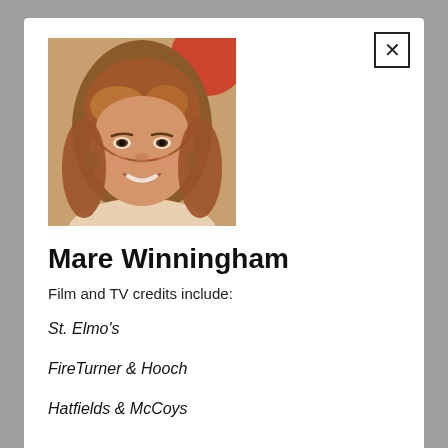[Figure (photo): Headshot photo of Mare Winningham, a woman with shoulder-length reddish-brown hair, wearing green earrings, smiling]
Mare Winningham
Film and TV credits include:
St. Elmo's
FireTurner & Hooch
Hatfields & McCoys